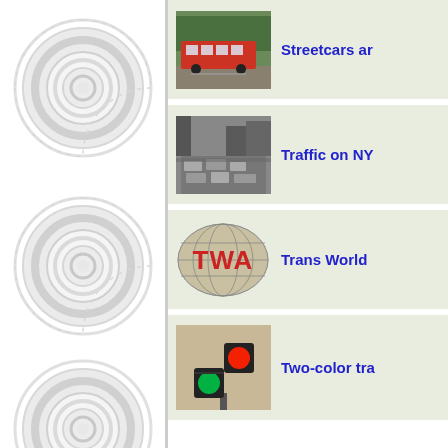[Figure (illustration): Large decorative tire watermark image in light gray on left panel background]
[Figure (photo): Photo of a red streetcar on rails with trees in background]
Streetcars ar
[Figure (photo): Black and white photo of heavy traffic on a New York City street]
Traffic on NY
[Figure (logo): TWA (Trans World Airlines) logo — red bold TWA text on oval background with globe]
Trans World
[Figure (photo): Photo of a two-color traffic light showing green and red lights]
Two-color tra